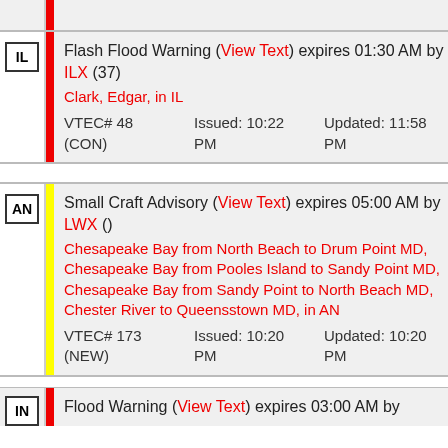| State | Alert | Location | VTEC# | Issued | Updated |
| --- | --- | --- | --- | --- | --- |
| IL | Flash Flood Warning (View Text) expires 01:30 AM by ILX (37) | Clark, Edgar, in IL | VTEC# 48 (CON) | Issued: 10:22 PM | Updated: 11:58 PM |
| AN | Small Craft Advisory (View Text) expires 05:00 AM by LWX () | Chesapeake Bay from North Beach to Drum Point MD, Chesapeake Bay from Pooles Island to Sandy Point MD, Chesapeake Bay from Sandy Point to North Beach MD, Chester River to Queenstown MD, in AN | VTEC# 173 (NEW) | Issued: 10:20 PM | Updated: 10:20 PM |
| IN | Flood Warning (View Text) expires 03:00 AM by |  |  |  |  |